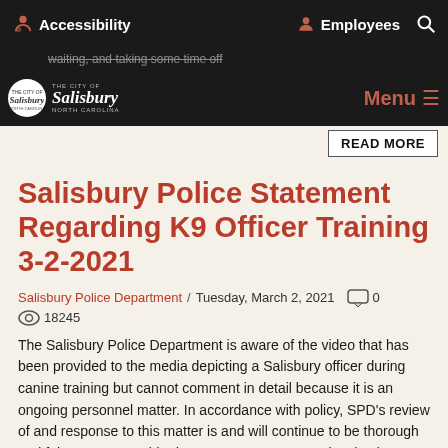Accessibility   Employees   Search
waiting, and taking some time off
The City of Salisbury North Carolina — Menu — READ MORE
Salisbury Police Statement Regarding K9 Officer Training 3-2-2021
Salisbury Police Department / Tuesday, March 2, 2021   0   18245
The Salisbury Police Department is aware of the video that has been provided to the media depicting a Salisbury officer during canine training but cannot comment in detail because it is an ongoing personnel matter. In accordance with policy, SPD's review of and response to this matter is and will continue to be thorough and fair so as to provide due process to everyone involved. SPD can confirm that, as a matter of course, the officer has been administratively separated from the canine while SPD conducts its review. The canine was not harmed and is healthy and being well-cared-for.